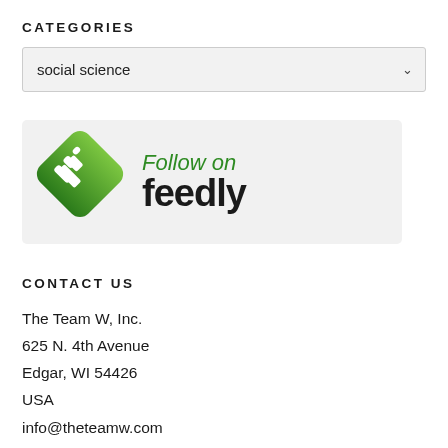CATEGORIES
social science
[Figure (logo): Follow on Feedly button/badge with green Feedly diamond logo on the left and 'Follow on feedly' text on the right]
CONTACT US
The Team W, Inc.
625 N. 4th Avenue
Edgar, WI 54426
USA
info@theteamw.com